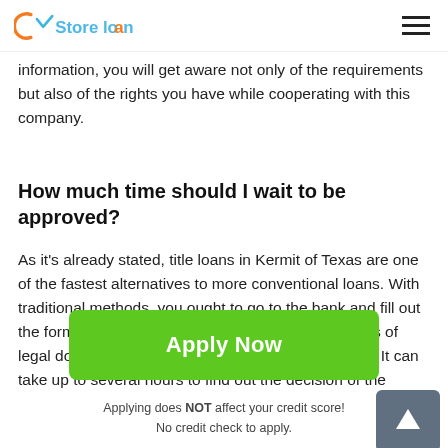Store loan
information, you will get aware not only of the requirements but also of the rights you have while cooperating with this company.
How much time should I wait to be approved?
As it's already stated, title loans in Kermit of Texas are one of the fastest alternatives to more conventional loans. With traditional methods, you ought to go to the bank and fill out the form there. Moreover, you have to provide copies of legal documents to prove the data in the application. It can take up to several hours to find out the decision of the
[Figure (other): Green Apply Now button]
Applying does NOT affect your credit score!
No credit check to apply.